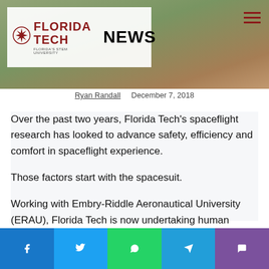[Figure (photo): Florida Tech News website header with logo on left (white background), background photo of outdoor sculpture/foliage on the right, hamburger menu icon top right]
Ryan Randall   December 7, 2018
Over the past two years, Florida Tech's spaceflight research has looked to advance safety, efficiency and comfort in spaceflight experience.
Those factors start with the spacesuit.
Working with Embry-Riddle Aeronautical University (ERAU), Florida Tech is now undertaking human testing to utilize the unique characteristic of the Florida Tech-owned spacesuit. The suit can be custom fit to the size of the person wearing it, unlike most previous space suit designs.
[Figure (infographic): Social share buttons bar at bottom: Facebook (blue), Twitter (light blue), WhatsApp (green), Telegram (blue), Viber (purple)]